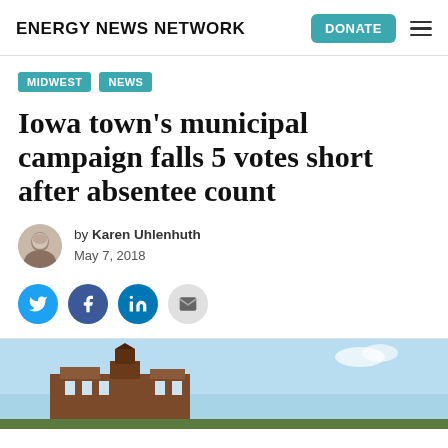ENERGY NEWS NETWORK
MIDWEST  NEWS
Iowa town's municipal campaign falls 5 votes short after absentee count
by Karen Uhlenhuth
May 7, 2018
[Figure (photo): Partial view of a historic brick building against a blue sky]